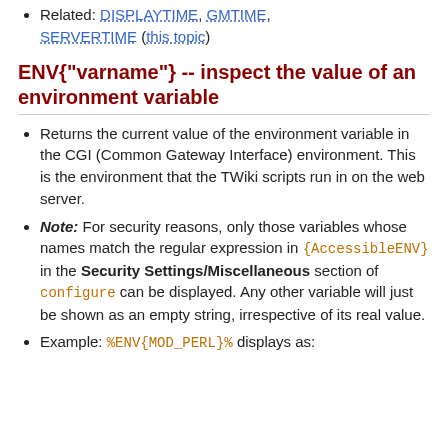Related: DISPLAYTIME, GMTIME, SERVERTIME (this topic)
ENV{"varname"} -- inspect the value of an environment variable
Returns the current value of the environment variable in the CGI (Common Gateway Interface) environment. This is the environment that the TWiki scripts run in on the web server.
Note: For security reasons, only those variables whose names match the regular expression in {AccessibleENV} in the Security Settings/Miscellaneous section of configure can be displayed. Any other variable will just be shown as an empty string, irrespective of its real value.
Example: %ENV{MOD_PERL}% displays as: